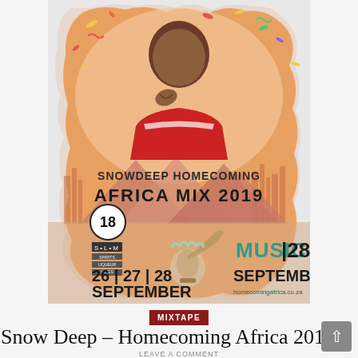[Figure (illustration): Event poster for Snow Deep Homecoming Africa Mix 2019. Orange illustrated background with wavy blob shape, mountains silhouette, city skyline, confetti. Young man in red striped shirt in upper center. Text reads: SNOWDEEP HOMECOMING AFRICA MIX 2019, age restriction 18, S-L-M logo, MUSIC 28, 26|27|28 SEPTEMBER, SEPTEMBER, homecomingafrica.co.za]
MIXTAPE
Snow Deep – Homecoming Africa 2019
LEAVE A COMMENT